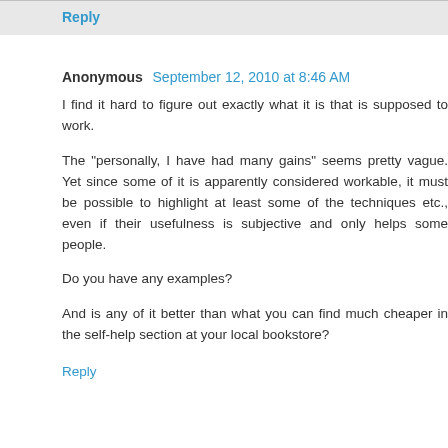Reply
Anonymous  September 12, 2010 at 8:46 AM
I find it hard to figure out exactly what it is that is supposed to work.
The "personally, I have had many gains" seems pretty vague. Yet since some of it is apparently considered workable, it must be possible to highlight at least some of the techniques etc., even if their usefulness is subjective and only helps some people.
Do you have any examples?
And is any of it better than what you can find much cheaper in the self-help section at your local bookstore?
Reply